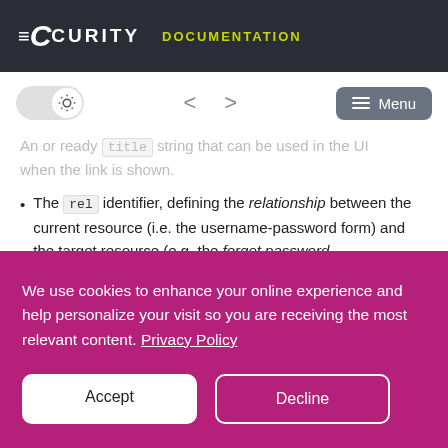Curity Documentation
An already title string that can be used in the UI when the link is shown.
The rel identifier, defining the relationship between the current resource (i.e. the username-password form) and the target resource (e.g. the forget password
We use cookies to enhance your online experience and help personalize your visit so you are receiving the most relevant content. Privacy Policy
Accept  Decline